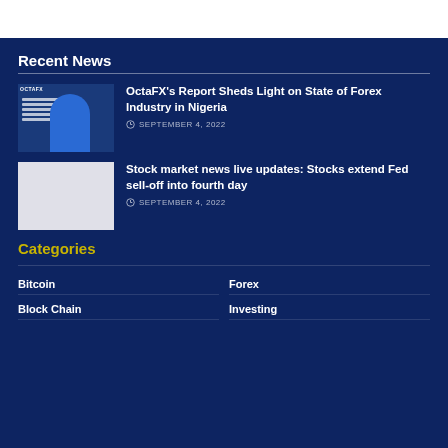Recent News
[Figure (photo): OctaFX branded image with person and text about online forex trading in Nigeria]
OctaFX's Report Sheds Light on State of Forex Industry in Nigeria
SEPTEMBER 4, 2022
[Figure (photo): Light colored placeholder image for stock market news article]
Stock market news live updates: Stocks extend Fed sell-off into fourth day
SEPTEMBER 4, 2022
Categories
Bitcoin
Forex
Block Chain
Investing